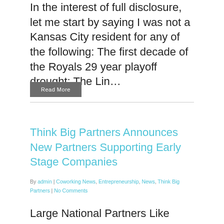In the interest of full disclosure, let me start by saying I was not a Kansas City resident for any of the following: The first decade of the Royals 29 year playoff drought; The Lin...
Read More
Think Big Partners Announces New Partners Supporting Early Stage Companies
By admin | Coworking News, Entrepreneurship, News, Think Big Partners | No Comments
Large National Partners Like Silicon Valley Bank, H&R Block Small Business